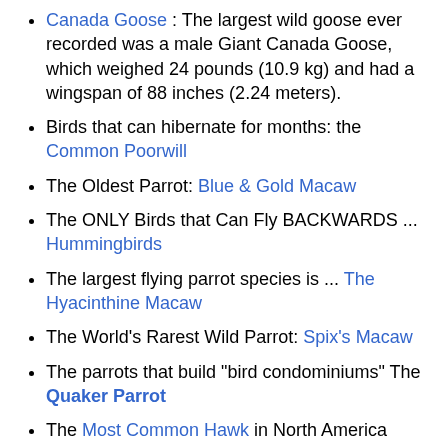Canada Goose : The largest wild goose ever recorded was a male Giant Canada Goose, which weighed 24 pounds (10.9 kg) and had a wingspan of 88 inches (2.24 meters).
Birds that can hibernate for months: the Common Poorwill
The Oldest Parrot: Blue & Gold Macaw
The ONLY Birds that Can Fly BACKWARDS ... Hummingbirds
The largest flying parrot species is ... The Hyacinthine Macaw
The World's Rarest Wild Parrot: Spix's Macaw
The parrots that build "bird condominiums" The Quaker Parrot
The Most Common Hawk in North America
The Eurasian Eagle Owl is World's Largest Owl
The record holder for speaking most words: the